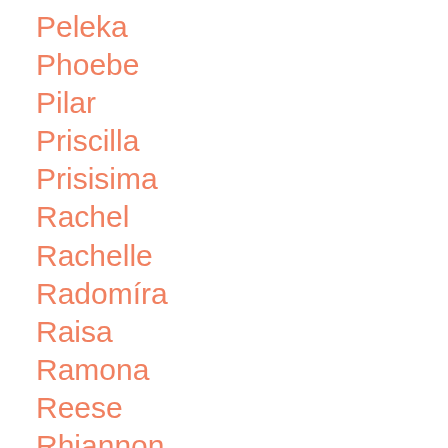Peleka
Phoebe
Pilar
Priscilla
Prisisima
Rachel
Rachelle
Radomíra
Raisa
Ramona
Reese
Rhiannon
Riley